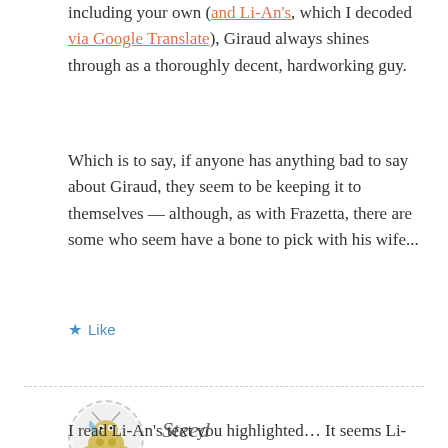including your own (and Li-An's, which I decoded via Google Translate), Giraud always shines through as a thoroughly decent, hardworking guy.
Which is to say, if anyone has anything bad to say about Giraud, they seem to be keeping it to themselves — although, as with Frazetta, there are some who seem have a bone to pick with his wife...
★ Like
Steed
12 MARCH 2012 AT 8:42 AM
I read Li-An's text you highlighted… It seems Li-An's experience with Giraud over the phone is similar to the